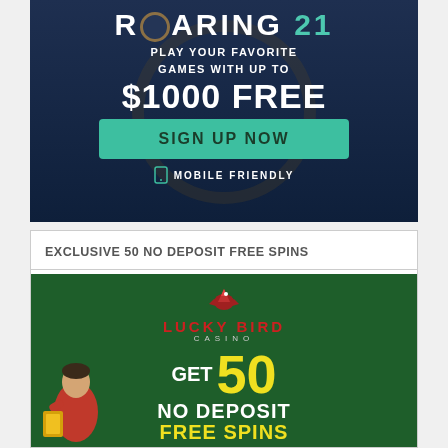[Figure (illustration): Roaring 21 casino advertisement banner with dark blue background, poker chip imagery, '$1000 FREE' promotional text, teal 'SIGN UP NOW' button, and 'MOBILE FRIENDLY' text with phone icon]
EXCLUSIVE 50 NO DEPOSIT FREE SPINS
[Figure (illustration): Lucky Bird Casino advertisement banner with dark green background, Lucky Bird logo with bird illustration, 'GET 50 NO DEPOSIT FREE SPINS' promotional text in white and yellow, and a man holding golden cards]